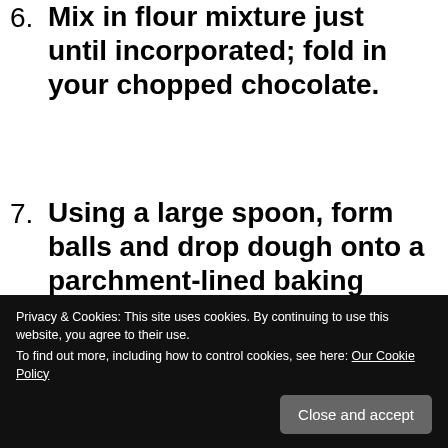6. Mix in flour mixture just until incorporated; fold in your chopped chocolate.
7. Using a large spoon, form balls and drop dough onto a parchment-lined baking sheet. Laugh to yourself that Martha Stewart is so naïve to think you would have parchment somewhere in your house. You have no idea where you
Privacy & Cookies: This site uses cookies. By continuing to use this website, you agree to their use. To find out more, including how to control cookies, see here: Our Cookie Policy
children will hate this step. They will be